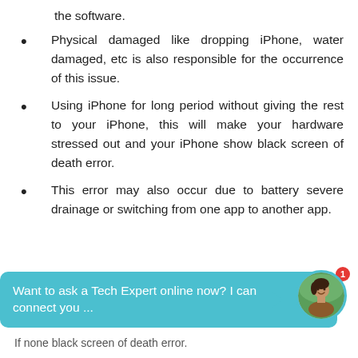the software.
Physical damaged like dropping iPhone, water damaged, etc is also responsible for the occurrence of this issue.
Using iPhone for long period without giving the rest to your iPhone, this will make your hardware stressed out and your iPhone show black screen of death error.
This error may also occur due to battery severe drainage or switching from one app to another app.
Want to ask a Tech Expert online now? I can connect you ...
If none black screen of death error.